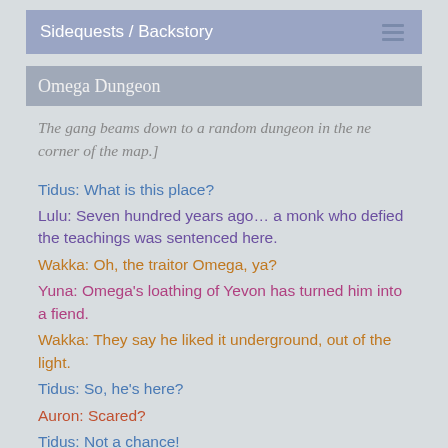Sidequests / Backstory
Omega Dungeon
The gang beams down to a random dungeon in the ne corner of the map.]
Tidus: What is this place?
Lulu: Seven hundred years ago… a monk who defied the teachings was sentenced here.
Wakka: Oh, the traitor Omega, ya?
Yuna: Omega's loathing of Yevon has turned him into a fiend.
Wakka: They say he liked it underground, out of the light.
Tidus: So, he's here?
Auron: Scared?
Tidus: Not a chance!
[Deep in the dungeon, Ultima Weapon attacks...]